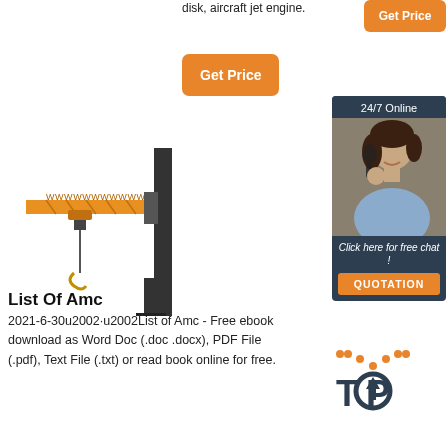disk, aircraft jet engine.
[Figure (other): Orange 'Get Price' button (top right)]
[Figure (other): Orange 'Get Price' button (center)]
[Figure (other): 24/7 Online chat widget with customer service photo, 'Click here for free chat!' text and orange QUOTATION button]
[Figure (illustration): Yellow/orange jib crane illustration]
List Of Amc
2021-6-30u2002·u2002List of Amc - Free ebook download as Word Doc (.doc .docx), PDF File (.pdf), Text File (.txt) or read book online for free.
[Figure (other): TOP logo with upward arrow icon]